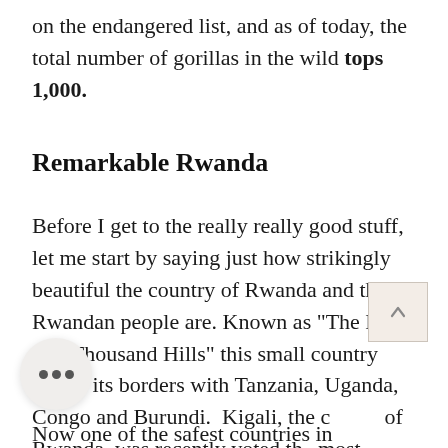on the endangered list, and as of today, the total number of gorillas in the wild tops 1,000.
Remarkable Rwanda
Before I get to the really really good stuff, let me start by saying just how strikingly beautiful the country of Rwanda and the Rwandan people are. Known as "The Land of a Thousand Hills" this small country shares its borders with Tanzania, Uganda, Congo and Burundi. Kigali, the capital of Rwanda, was recently voted the most beautiful city in Africa and the greenest city in the world!
Now one of the safest countries in